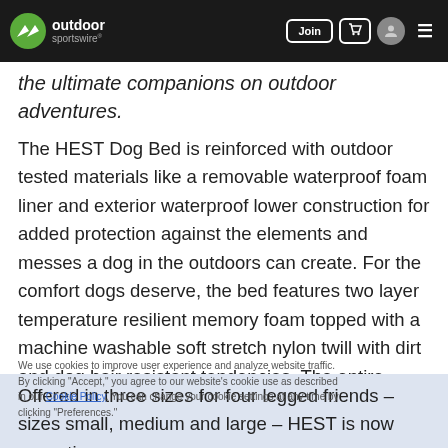outdoor sportswire — navigation bar with Join, cart, user, menu buttons
the ultimate companions on outdoor adventures.
The HEST Dog Bed is reinforced with outdoor tested materials like a removable waterproof foam liner and exterior waterproof lower construction for added protection against the elements and messes a dog in the outdoors can create. For the comfort dogs deserve, the bed features two layer temperature resilient memory foam topped with a machine washable soft stretch nylon twill with dirt and dog hair resistant tendencies. The entire package compactly rolls into an integrated compression harness and carry handle for easy packing and transporting.
We use cookies to improve user experience and analyze website traffic. By clicking "Accept," you agree to our website's cookie use as described in our Cookie Policy. You can change your cookie settings at any time by clicking "Preferences."
Offered in three sizes for four legged friends – sizes small, medium and large – HEST is now accepting